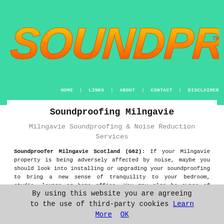[Figure (logo): SOUNDPROOFING logo in large orange/yellow graffiti-style text on teal/mint green background]
HOME | LINKS | ABOUT | CONTACT | DISCLAIMER
Soundproofing Milngavie
Milngavie Soundproofing & Noise Reduction Services
Soundproofer Milngavie Scotland (G62): If your Milngavie property is being adversely affected by noise, maybe you should look into installing or upgrading your soundproofing to bring a new sense of tranquility to your bedroom, studio, lounge or home office. You may also be aware of noise from a home cinema or family room leaking out and disturbing others in the house. Either way, soundproofing is important for your sanity and peace of mind.
It's important to [cyan button element]
By using this website you are agreeing to the use of third-party cookies Learn More OK